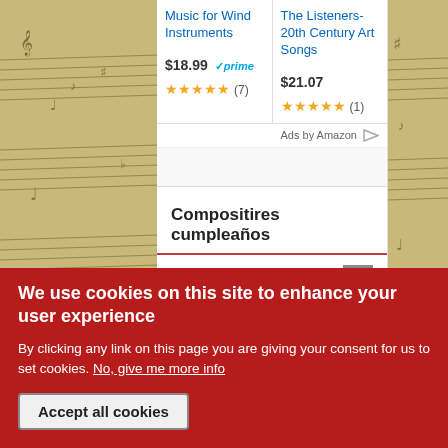[Figure (screenshot): Amazon ad card for 'Music for Wind Instruments' priced at $18.99 with Prime, 4.5 stars (7 reviews)]
[Figure (screenshot): Amazon ad card for 'The Listeners-20th Century Art Songs' priced at $21.07, 5 stars (1 review)]
Ads by Amazon
Compositires cumpleaños
Geoffrey Gordon (1968) hace 54 años
Mela Meierhans (1961) hace 61 años
We use cookies on this site to enhance your user experience
By clicking any link on this page you are giving your consent for us to set cookies. No, give me more info
Accept all cookies